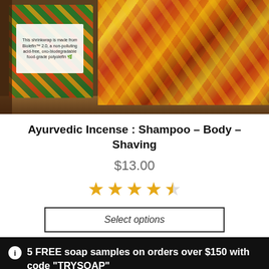[Figure (photo): Product photo of artisan soap bars on a wooden shelf. Left bar has green/orange decorative packaging with a white label reading 'This shrinkwrap is made from Biolefin™ 2.0, a non-polluting acid-free, oxo-biodegradable food-grade polyolefin.' Right bar shows yellow/red/brown swirled artisan soap.]
Ayurvedic Incense : Shampoo – Body – Shaving
$13.00
[Figure (other): 4.5 out of 5 stars rating (star icons in gold/orange color)]
Select options
5 FREE soap samples on orders over $150 with code "TRYSOAP"
Dismiss
Hi, we are here to help!
[Figure (other): Bottom navigation bar with user account icon, search icon, and shopping cart icon with badge showing 0]